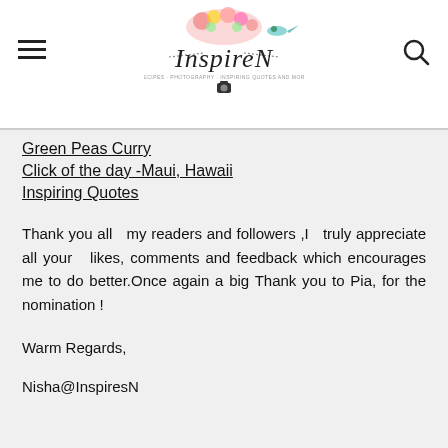InspireN (logo with flowers and hummingbird)
Green Peas Curry
Click of the day -Maui, Hawaii
Inspiring Quotes
Thank you all  my readers and followers ,I  truly appreciate all your  likes, comments and feedback which encourages me to do better.Once again a big Thank you to Pia, for the nomination !
Warm Regards,
Nisha@InspiresN